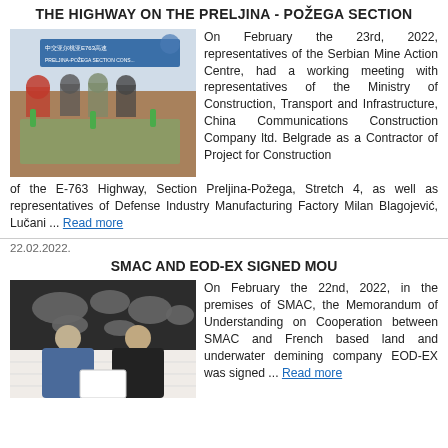THE HIGHWAY ON THE PRELJINA - POŽEGA SECTION
[Figure (photo): Meeting of representatives around a table with maps, Chinese text visible on a banner in the background]
On February the 23rd, 2022, representatives of the Serbian Mine Action Centre, had a working meeting with representatives of the Ministry of Construction, Transport and Infrastructure, China Communications Construction Company ltd. Belgrade as a Contractor of Project for Construction of the E-763 Highway, Section Preljina-Požega, Stretch 4, as well as representatives of Defense Industry Manufacturing Factory Milan Blagojević, Lučani ... Read more
22.02.2022.
SMAC AND EOD-EX SIGNED MOU
[Figure (photo): Two men holding documents in front of a world map on the wall]
On February the 22nd, 2022, in the premises of SMAC, the Memorandum of Understanding on Cooperation between SMAC and French based land and underwater demining company EOD-EX was signed ... Read more